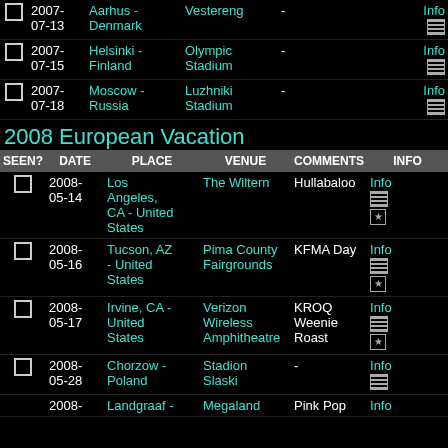| SEEN? | DATE | PLACE | VENUE | COMMENTS | INFO |
| --- | --- | --- | --- | --- | --- |
|  | 2007-07-13 | Aarhus - Denmark | Vestereng | - | Info |
|  | 2007-07-15 | Helsinki - Finland | Olympic Stadium | - | Info |
|  | 2007-07-18 | Moscow - Russia | Luzhniki Stadium | - | Info |
2008 European Vacation
| SEEN? | DATE | PLACE | VENUE | COMMENTS | INFO |
| --- | --- | --- | --- | --- | --- |
|  | 2008-05-14 | Los Angeles, CA - United States | The Wiltern | Hullabaloo | Info |
|  | 2008-05-16 | Tucson, AZ - United States | Pima County Fairgrounds | KFMA Day | Info |
|  | 2008-05-17 | Irvine, CA - United States | Verizon Wireless Amphitheatre | KROQ Weenie Roast | Info |
|  | 2008-05-28 | Chorzow - Poland | Stadion Slaski | - | Info |
|  | 2008- | Landgraaf - | Megaland | Pink Pop | Info |